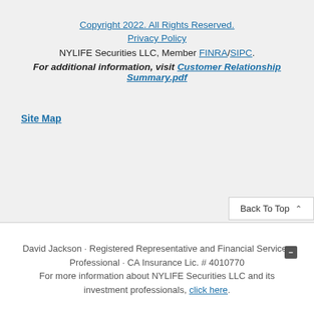Copyright 2022. All Rights Reserved.
Privacy Policy
NYLIFE Securities LLC, Member FINRA/SIPC.
For additional information, visit Customer Relationship Summary.pdf
Site Map
Back To Top ▲
David Jackson · Registered Representative and Financial Services Professional · CA Insurance Lic. # 4010770 For more information about NYLIFE Securities LLC and its investment professionals, click here.